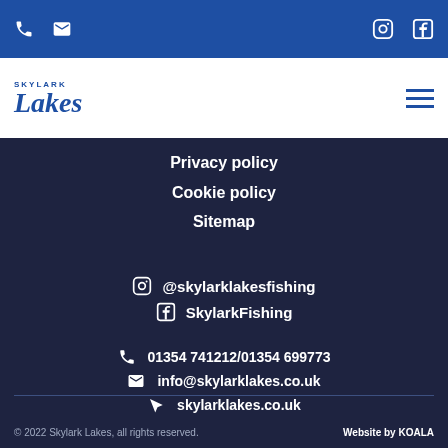Skylark Lakes website header with phone, email, Instagram, Facebook icons and navigation logo
[Figure (logo): Skylark Lakes logo with text in blue on white background]
Privacy policy
Cookie policy
Sitemap
@skylarklakesfishing
SkylarkFishing
01354 741212/01354 699773
info@skylarklakes.co.uk
skylarklakes.co.uk
© 2022 Skylark Lakes, all rights reserved.   Website by KOALA